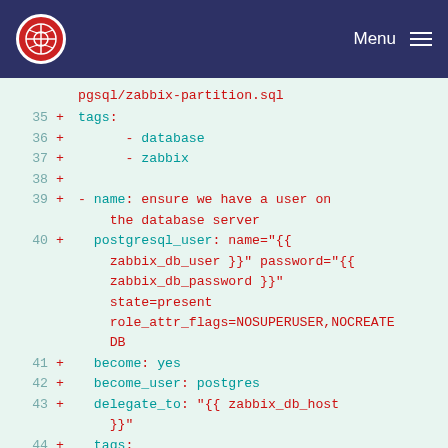Menu
[Figure (screenshot): Code diff view showing YAML ansible configuration lines 35-46 with line numbers and + diff markers. Lines include tags, database, zabbix entries, postgresql_user configuration with template variables, become/become_user/delegate_to settings.]